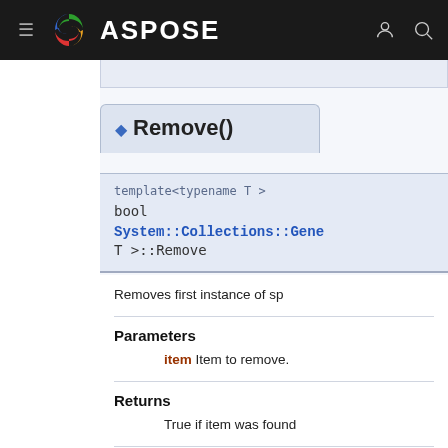ASPOSE
◆ Remove()
template<typename T >
bool
System::Collections::Gene
T >::Remove
Removes first instance of sp
Parameters
item Item to remove.
Returns
True if item was found
Implements System::Collec